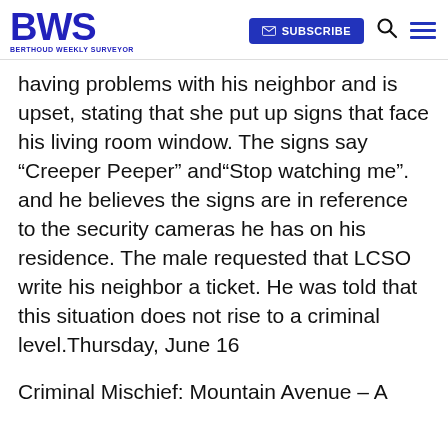BWS BERTHOUD WEEKLY SURVEYOR | SUBSCRIBE | Search | Menu
having problems with his neighbor and is upset, stating that she put up signs that face his living room window. The signs say “Creeper Peeper” and“Stop watching me”. and he believes the signs are in reference to the security cameras he has on his residence. The male requested that LCSO write his neighbor a ticket. He was told that this situation does not rise to a criminal level.Thursday, June 16
Criminal Mischief: Mountain Avenue – A